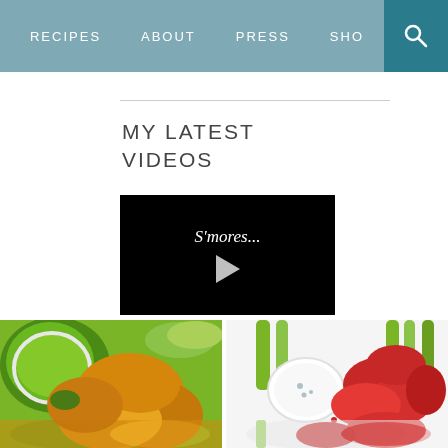RECIPES   ABOUT   PRESS   SHO[P]
MY LATEST VIDEOS
[Figure (screenshot): Video thumbnail with black background showing text S'mores... and a white play button triangle]
[Figure (photo): Close-up food photo of tostones (fried plantains) with a green mojo sauce in a white bowl and sliced avocado]
[Figure (photo): Overhead food photo of buffalo wings with celery sticks and a white dipping sauce in a small bowl on white background]